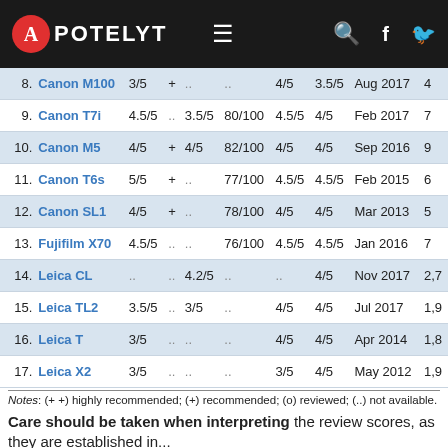APOTELYT
| # | Camera | Col3 | Col4 | Col5 | Col6 | Col7 | Col8 | Date | Col10 |
| --- | --- | --- | --- | --- | --- | --- | --- | --- | --- |
| 8. | Canon M100 | 3/5 | + | .. | .. | 4/5 | 3.5/5 | Aug 2017 | 4 |
| 9. | Canon T7i | 4.5/5 | .. | 3.5/5 | 80/100 | 4.5/5 | 4/5 | Feb 2017 | 7 |
| 10. | Canon M5 | 4/5 | + | 4/5 | 82/100 | 4/5 | 4/5 | Sep 2016 | 9 |
| 11. | Canon T6s | 5/5 | + | .. | 77/100 | 4.5/5 | 4.5/5 | Feb 2015 | 6 |
| 12. | Canon SL1 | 4/5 | + | .. | 78/100 | 4/5 | 4/5 | Mar 2013 | 5 |
| 13. | Fujifilm X70 | 4.5/5 | .. | .. | 76/100 | 4.5/5 | 4.5/5 | Jan 2016 | 7 |
| 14. | Leica CL | .. | .. | 4.2/5 | .. | .. | 4/5 | Nov 2017 | 2,7 |
| 15. | Leica TL2 | 3.5/5 | .. | 3/5 | .. | 4/5 | 4/5 | Jul 2017 | 1,9 |
| 16. | Leica T | 3/5 | .. | .. | .. | 4/5 | 4/5 | Apr 2014 | 1,8 |
| 17. | Leica X2 | 3/5 | .. | .. | .. | 3/5 | 4/5 | May 2012 | 1,9 |
Notes: (+ +) highly recommended; (+) recommended; (o) reviewed; (..) not available.
Care should be taken when interpreting the review scores, as they are established in...